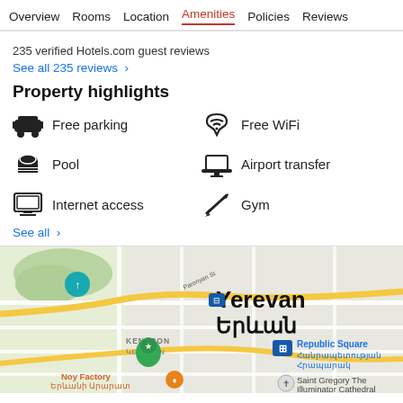Overview  Rooms  Location  Amenities  Policies  Reviews
235 verified Hotels.com guest reviews
See all 235 reviews  >
Property highlights
Free parking
Free WiFi
Pool
Airport transfer
Internet access
Gym
See all  >
[Figure (map): Google Maps view of Yerevan, Armenia showing Republic Square area with hotel marker, Noy Factory, Kentron district, Paronyan St, and Saint Gregory The Illuminator Cathedral labels in English and Armenian script.]